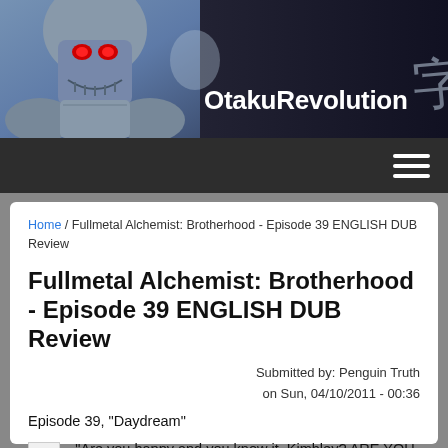[Figure (illustration): OtakuRevolution website header banner showing anime armor character (Alphonse Elric from Fullmetal Alchemist Brotherhood) on the left with blue/purple tones and the site name 'OtakuRevolution' in white bold text on the right]
OtakuRevolution
Home / Fullmetal Alchemist: Brotherhood - Episode 39 ENGLISH DUB Review
Fullmetal Alchemist: Brotherhood - Episode 39 ENGLISH DUB Review
Submitted by: Penguin Truth on Sun, 04/10/2011 - 00:36
Episode 39, "Daydream"
[Figure (photo): Broken image placeholder icon]
"Are you happy and you know it, Kimbley? ARE YOU HAPPY AND YOU KNOW IT?!"